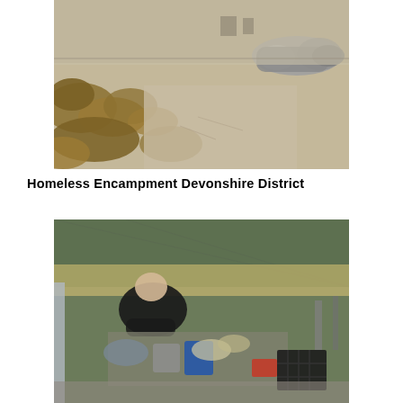[Figure (photo): Outdoor homeless encampment area showing dry weeds and gravel ground, with a person lying on the ground wrapped in a gray blanket/sleeping bag near a chain-link fence in the background. Debris and sparse dry grass visible.]
Homeless Encampment Devonshire District
[Figure (photo): A person in a black t-shirt bending over a large pile of belongings including clothing, containers, tools, and a black plastic crate, surrounded by chain-link fence covered with green tarp and dry grass in the background.]